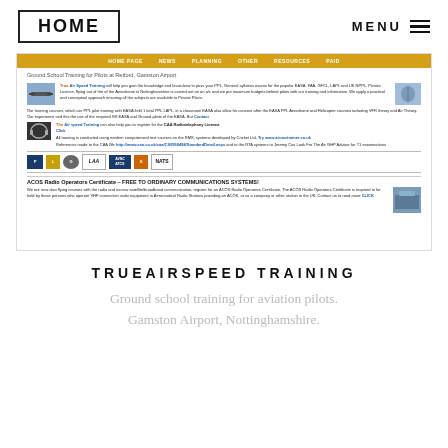HOME   MENU
[Figure (screenshot): Screenshot of TrueAirspeed Training website showing navigation bar, content sections about Air Speed Training ground school, CAA Radiotelephony Licence, logos of aviation organisations including LAA, NATS, and ACOS Radio Operators Certificate section]
TRUEAIRSPEED TRAINING
Ground school training for aviation pilots. Gamston Airport, Nottinghamshire.